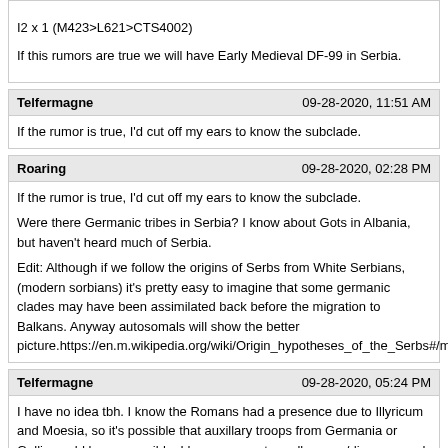I2 x 1 (M423>L621>CTS4002)

If this rumors are true we will have Early Medieval DF-99 in Serbia.
Telfermagne	09-28-2020, 11:51 AM
If the rumor is true, I'd cut off my ears to know the subclade.
Roaring	09-28-2020, 02:28 PM
If the rumor is true, I'd cut off my ears to know the subclade.

Were there Germanic tribes in Serbia? I know about Gots in Albania, but haven't heard much of Serbia.

Edit: Although if we follow the origins of Serbs from White Serbians, (modern sorbians) it's pretty easy to imagine that some germanic clades may have been assimilated back before the migration to Balkans. Anyway autosomals will show the better picture.https://en.m.wikipedia.org/wiki/Origin_hypotheses_of_the_Serbs#/media/File%
Telfermagne	09-28-2020, 05:24 PM
I have no idea tbh. I know the Romans had a presence due to Illyricum and Moesia, so it's possible that auxillary troops from Germania or Gallia could be responsible, I have no way to really prove/disprove such a speculation though. It will be swell when Global25 coordinates become available for these guys to see where they fit on a neighbor joining tree and PCA.
GoldenHind	09-29-2020, 04:19 PM